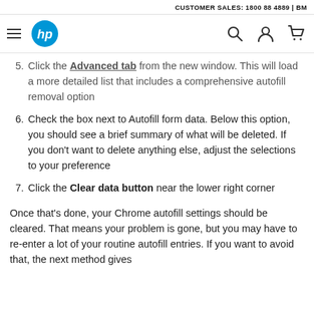CUSTOMER SALES: 1800 88 4889 | BM
5. Click the Advanced tab from the new window. This will load a more detailed list that includes a comprehensive autofill removal option
6. Check the box next to Autofill form data. Below this option, you should see a brief summary of what will be deleted. If you don't want to delete anything else, adjust the selections to your preference
7. Click the Clear data button near the lower right corner
Once that's done, your Chrome autofill settings should be cleared. That means your problem is gone, but you may have to re-enter a lot of your routine autofill entries. If you want to avoid that, the next method gives